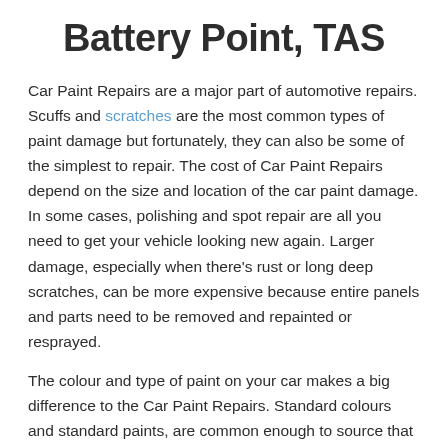Battery Point, TAS
Car Paint Repairs are a major part of automotive repairs. Scuffs and scratches are the most common types of paint damage but fortunately, they can also be some of the simplest to repair. The cost of Car Paint Repairs depend on the size and location of the car paint damage. In some cases, polishing and spot repair are all you need to get your vehicle looking new again. Larger damage, especially when there's rust or long deep scratches, can be more expensive because entire panels and parts need to be removed and repainted or resprayed.
The colour and type of paint on your car makes a big difference to the Car Paint Repairs. Standard colours and standard paints, are common enough to source that a panel beater can simply paint the localised area